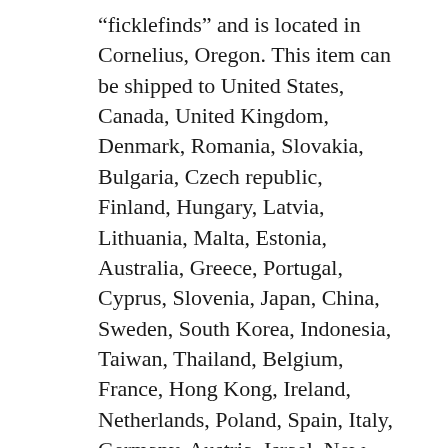“ficklefinds” and is located in Cornelius, Oregon. This item can be shipped to United States, Canada, United Kingdom, Denmark, Romania, Slovakia, Bulgaria, Czech republic, Finland, Hungary, Latvia, Lithuania, Malta, Estonia, Australia, Greece, Portugal, Cyprus, Slovenia, Japan, China, Sweden, South Korea, Indonesia, Taiwan, Thailand, Belgium, France, Hong Kong, Ireland, Netherlands, Poland, Spain, Italy, Germany, Austria, Israel, New Zealand, Philippines, Singapore, Switzerland, Norway, Saudi arabia, Ukraine, United arab emirates, Qatar, Kuwait, Bahrain, Croatia, Malaysia, Antigua and barbuda,